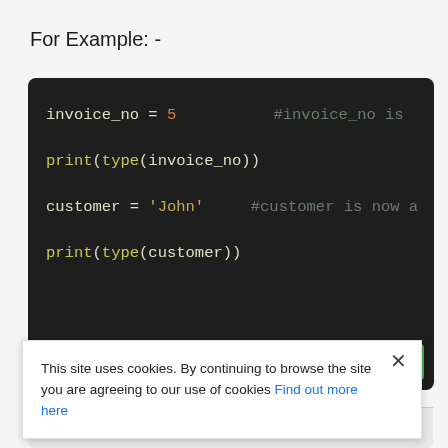For Example: -
[Figure (screenshot): Dark-themed code editor showing Python code: invoice_no = 5  #invoice_no is, print(type(invoice_no)), customer = 'John'  #customer is now a, print(type(customer)). A green 'Try It Yourself' button appears at bottom right.]
This site uses cookies. By continuing to browse the site you are agreeing to our use of cookies Find out more here
Output
<class int >